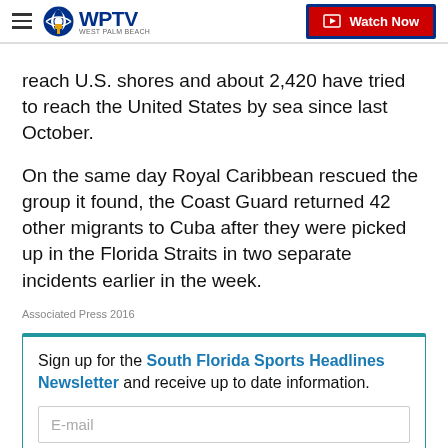WPTV – Watch Now
reach U.S. shores and about 2,420 have tried to reach the United States by sea since last October.
On the same day Royal Caribbean rescued the group it found, the Coast Guard returned 42 other migrants to Cuba after they were picked up in the Florida Straits in two separate incidents earlier in the week.
Associated Press 2016
Sign up for the South Florida Sports Headlines Newsletter and receive up to date information.